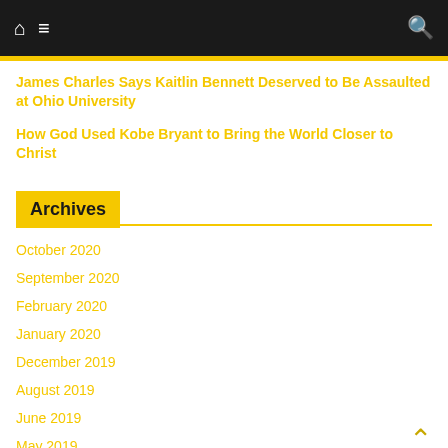Navigation bar with home, menu, and search icons
James Charles Says Kaitlin Bennett Deserved to Be Assaulted at Ohio University
How God Used Kobe Bryant to Bring the World Closer to Christ
Archives
October 2020
September 2020
February 2020
January 2020
December 2019
August 2019
June 2019
May 2019